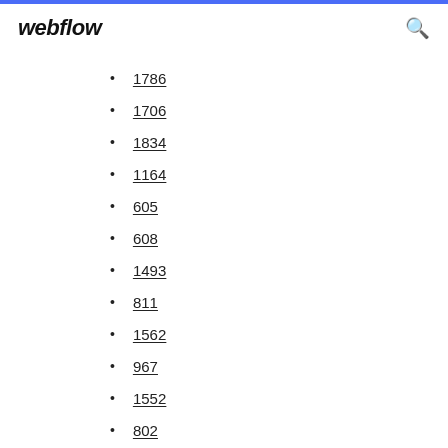webflow
1786
1706
1834
1164
605
608
1493
811
1562
967
1552
802